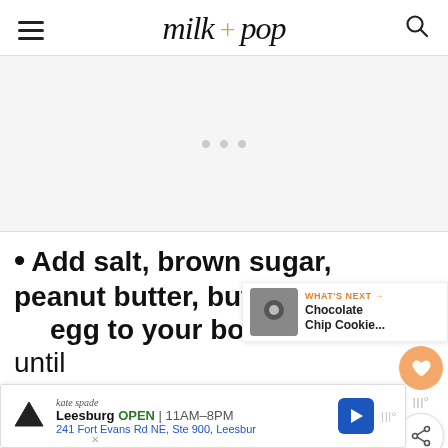milk + pop
[Figure (other): Gray advertisement placeholder area with three small gray dots in center]
Add salt, brown sugar, peanut butter, butter, egg to your bowl. Mix until
WHAT'S NEXT → Chocolate Chip Cookie...
Leesburg OPEN 11AM–8PM 241 Fort Evans Rd NE, Ste 900, Leesburg